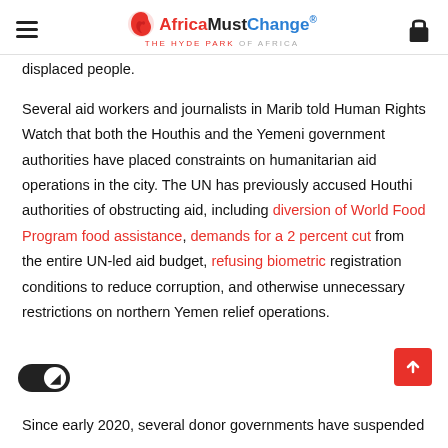AfricaMustChange® — THE HYDE PARK OF AFRICA
…g … p displaced people.
Several aid workers and journalists in Marib told Human Rights Watch that both the Houthis and the Yemeni government authorities have placed constraints on humanitarian aid operations in the city. The UN has previously accused Houthi authorities of obstructing aid, including diversion of World Food Program food assistance, demands for a 2 percent cut from the entire UN-led aid budget, refusing biometric registration conditions to reduce corruption, and otherwise unnecessary restrictions on northern Yemen relief operations.
Since early 2020, several donor governments have suspended